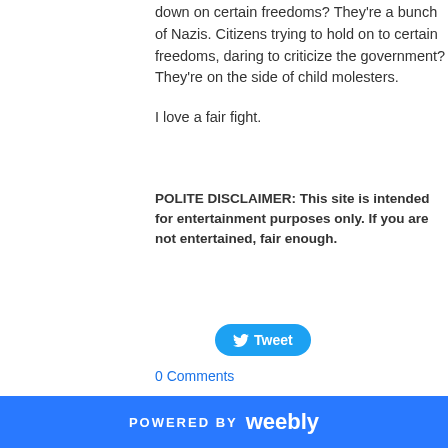down on certain freedoms? They're a bunch of Nazis. Citizens trying to hold on to certain freedoms, daring to criticize the government? They're on the side of child molesters.
I love a fair fight.
POLITE DISCLAIMER: This site is intended for entertainment purposes only. If you are not entertained, fair enough.
Tweet
0 Comments
POWERED BY weebly